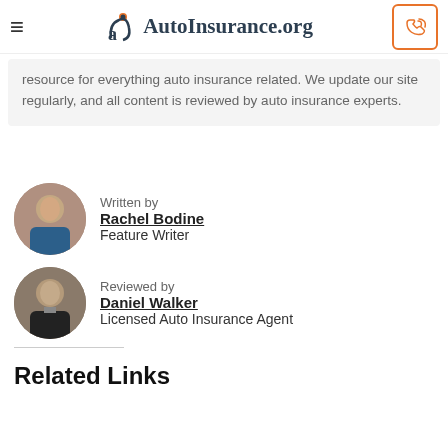AutoInsurance.org
resource for everything auto insurance related. We update our site regularly, and all content is reviewed by auto insurance experts.
Written by
Rachel Bodine
Feature Writer
Reviewed by
Daniel Walker
Licensed Auto Insurance Agent
Related Links